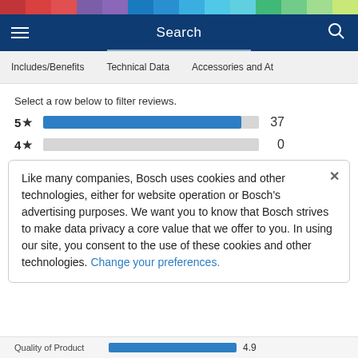[Figure (infographic): Colorful horizontal bar of multiple colors at top of page]
Search
Includes/Benefits   Technical Data   Accessories and At
Select a row below to filter reviews.
[Figure (bar-chart): Rating distribution]
Like many companies, Bosch uses cookies and other technologies, either for website operation or Bosch's advertising purposes. We want you to know that Bosch strives to make data privacy a core value that we offer to you. In using our site, you consent to the use of these cookies and other technologies. Change your preferences.
Quality of Product   4.9